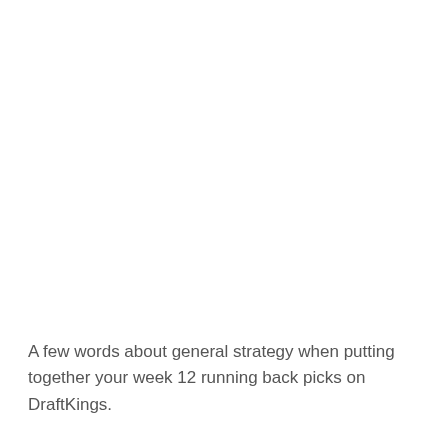A few words about general strategy when putting together your week 12 running back picks on DraftKings.